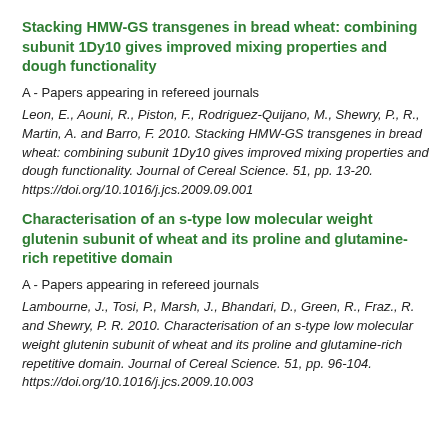Stacking HMW-GS transgenes in bread wheat: combining subunit 1Dy10 gives improved mixing properties and dough functionality
A - Papers appearing in refereed journals
Leon, E., Aouni, R., Piston, F., Rodriguez-Quijano, M., Shewry, P., R., Martin, A. and Barro, F. 2010. Stacking HMW-GS transgenes in bread wheat: combining subunit 1Dy10 gives improved mixing properties and dough functionality. Journal of Cereal Science. 51, pp. 13-20. https://doi.org/10.1016/j.jcs.2009.09.001
Characterisation of an s-type low molecular weight glutenin subunit of wheat and its proline and glutamine-rich repetitive domain
A - Papers appearing in refereed journals
Lambourne, J., Tosi, P., Marsh, J., Bhandari, D., Green, R., Fraz., R. and Shewry, P. R. 2010. Characterisation of an s-type low molecular weight glutenin subunit of wheat and its proline and glutamine-rich repetitive domain. Journal of Cereal Science. 51, pp. 96-104. https://doi.org/10.1016/j.jcs.2009.10.003